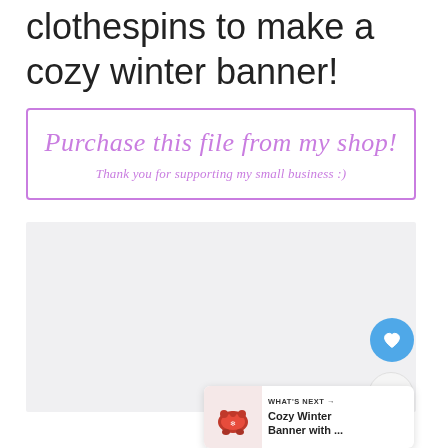clothespins to make a cozy winter banner!
[Figure (infographic): Promotional box with purple border containing cursive text: 'Purchase this file from my shop!' and subtitle 'Thank you for supporting my small business :)']
[Figure (screenshot): Gray content area placeholder below promo box, with circular blue heart/like button, circular share button, and 'WHAT'S NEXT' card showing 'Cozy Winter Banner with ...' with a sweater thumbnail image]